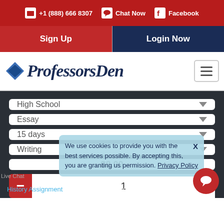+1 (888) 666 8307  Chat Now  Facebook
Sign Up  Login Now
[Figure (logo): ProfessorsDen logo with blue diamond and cursive text]
High School
Essay
15 days
Writing
$8.00
1
We use cookies to provide you with the best services possible. By accepting this, you are granting us permission. Privacy Policy
History Assignment Ordered 2 Hours Ago